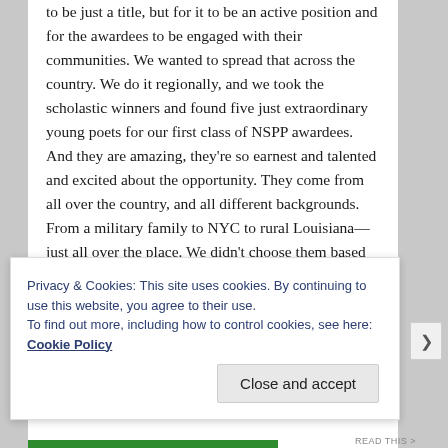to be just a title, but for it to be an active position and for the awardees to be engaged with their communities. We wanted to spread that across the country. We do it regionally, and we took the scholastic winners and found five just extraordinary young poets for our first class of NSPP awardees. And they are amazing, they're so earnest and talented and excited about the opportunity. They come from all over the country, and all different backgrounds. From a military family to NYC to rural Louisiana—just all over the place. We didn't choose them based on their geography. We assembled the talent into five regions and selected a winner from each region. Their charge had been to look for communities where there isn't already a flourishing poetry scene and to bring it there.
Privacy & Cookies: This site uses cookies. By continuing to use this website, you agree to their use.
To find out more, including how to control cookies, see here: Cookie Policy